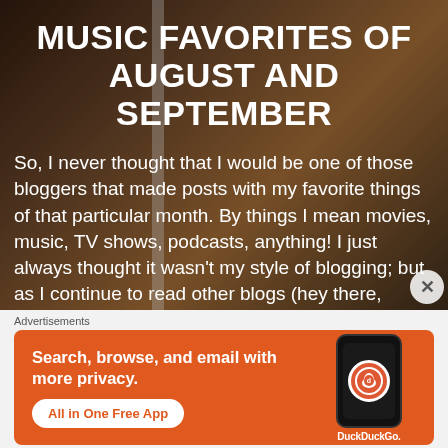MUSIC FAVORITES OF AUGUST AND SEPTEMBER
So, I never thought that I would be one of those bloggers that made posts with my favorite things of that particular month. By things I mean movies, music, TV shows, podcasts, anything! I just always thought it wasn't my style of blogging; but as I continue to read other blogs (hey there, fellow wordpress [...]
Advertisements
[Figure (infographic): DuckDuckGo advertisement banner with orange background. Text reads: Search, browse, and email with more privacy. All in One Free App. Shows a phone mockup with DuckDuckGo logo.]